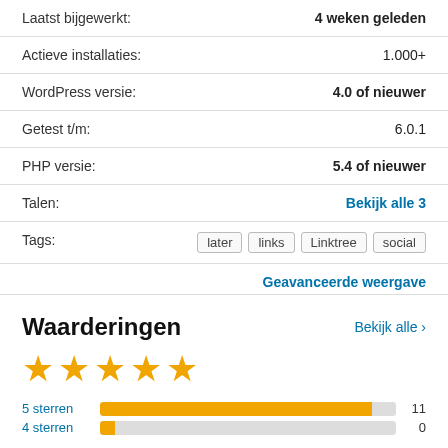Laatst bijgewerkt: 4 weken geleden
Actieve installaties: 1.000+
WordPress versie: 4.0 of nieuwer
Getest t/m: 6.0.1
PHP versie: 5.4 of nieuwer
Talen: Bekijk alle 3
Tags: later links Linktree social
Geavanceerde weergave
Waarderingen
Bekijk alle >
[Figure (other): 5 gold stars rating]
5 sterren 11
4 sterren 0